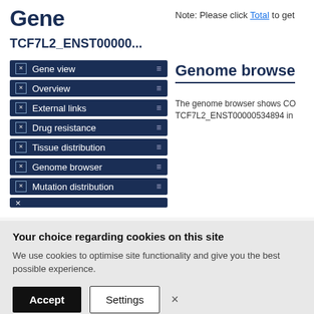Gene
TCF7L2_ENST00000...
Note: Please click Total to get
Genome browser
The genome browser shows CO TCF7L2_ENST00000534894 in
Gene view
Overview
External links
Drug resistance
Tissue distribution
Genome browser
Mutation distribution
Your choice regarding cookies on this site
We use cookies to optimise site functionality and give you the best possible experience.
Accept Settings ×